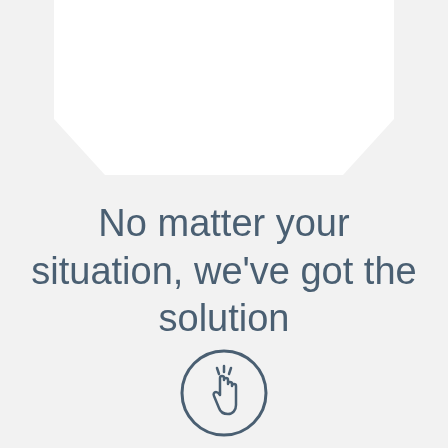[Figure (illustration): White card shape (pentagon/shield) at top center of the page, used as a decorative background element.]
No matter your situation, we've got the solution
[Figure (illustration): Circle icon with a hand/finger pointer cursor inside, indicating a clickable interaction.]